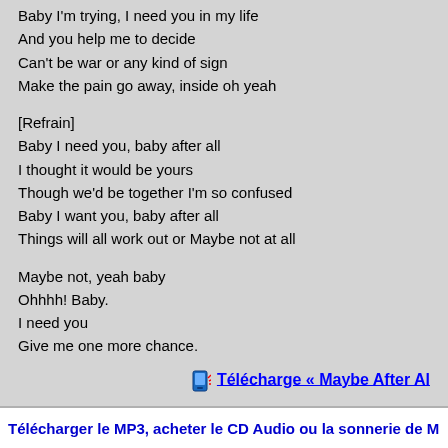Baby I'm trying, I need you in my life
And you help me to decide
Can't be war or any kind of sign
Make the pain go away, inside oh yeah
[Refrain]
Baby I need you, baby after all
I thought it would be yours
Though we'd be together I'm so confused
Baby I want you, baby after all
Things will all work out or Maybe not at all
Maybe not, yeah baby
Ohhhh! Baby.
I need you
Give me one more chance.
Télécharge « Maybe After Al
Note :
Télécharger le MP3, acheter le CD Audio ou la sonnerie de M